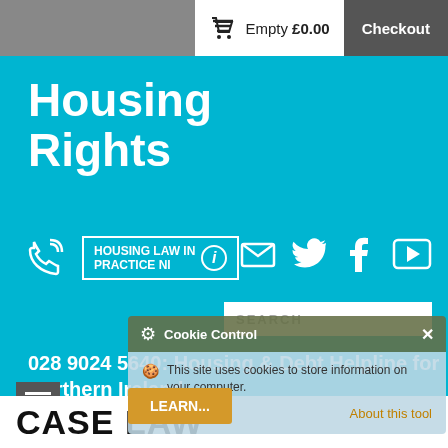Empty £0.00  Checkout
[Figure (screenshot): Housing Rights website header with logo, icons, search bar, and cookie control overlay]
Housing Rights
HOUSING LAW IN PRACTICE NI
028 9024 5640: Housing & Debt Helpline for Northern Ireland
Cookie Control
This site uses cookies to store information on your computer.
About this tool
CASE LAW